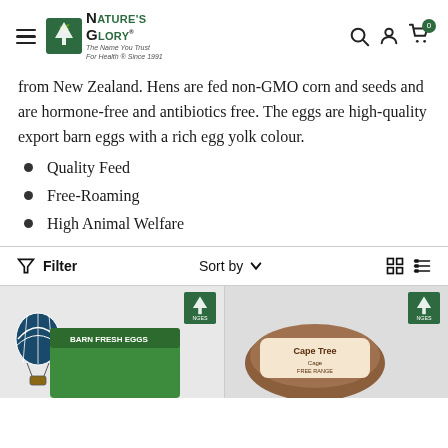Nature's Glory - The Name You Trust For Health Since 1991
from New Zealand. Hens are fed non-GMO corn and seeds and are hormone-free and antibiotics free. The eggs are high-quality export barn eggs with a rich egg yolk colour.
Quality Feed
Free-Roaming
High Animal Welfare
[Figure (other): Filter bar with Sort by dropdown and grid/list view toggle icons, followed by two product thumbnails]
[Figure (photo): Product card showing a green egg carton with hot air balloon illustration and Nature's Glory badge]
[Figure (photo): Product card showing Cape Tree egg carton with Nature's Glory badge]